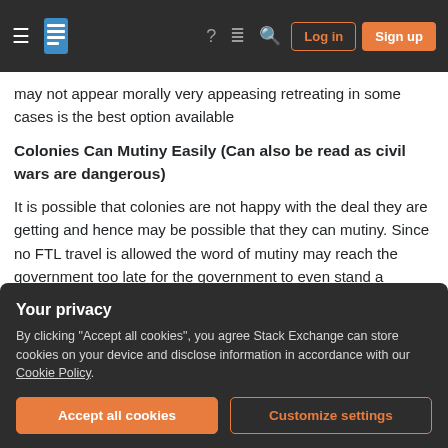Stack Exchange navigation bar with Log in and Sign up buttons
may not appear morally very appeasing retreating in some cases is the best option available
Colonies Can Mutiny Easily (Can also be read as civil wars are dangerous)
It is possible that colonies are not happy with the deal they are getting and hence may be possible that they can mutiny. Since no FTL travel is allowed the word of mutiny may reach the government too late for the government to even stand a chance. A civil war may tear the remaining human population
Your privacy
By clicking "Accept all cookies", you agree Stack Exchange can store cookies on your device and disclose information in accordance with our Cookie Policy.
Accept all cookies
Customize settings
A ship is a dynamic system You can repair it easily it